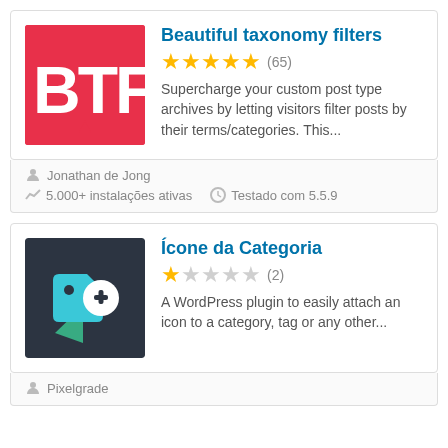[Figure (logo): BTF logo - red background with white text BTF]
Beautiful taxonomy filters
★★★★★ (65)
Supercharge your custom post type archives by letting visitors filter posts by their terms/categories. This...
Jonathan de Jong
5.000+ instalações ativas   Testado com 5.5.9
[Figure (logo): Ícone da Categoria plugin logo - dark background with teal and green tag icons and a plus symbol]
Ícone da Categoria
★☆☆☆☆ (2)
A WordPress plugin to easily attach an icon to a category, tag or any other...
Pixelgrade